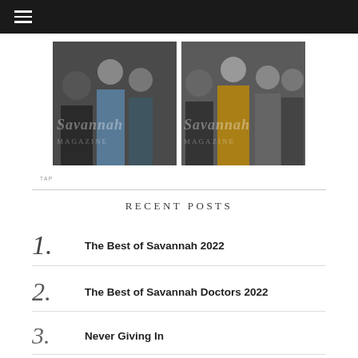[Figure (photo): Two event photos side by side with Savannah Magazine watermark overlay]
TAP
RECENT POSTS
1. The Best of Savannah 2022
2. The Best of Savannah Doctors 2022
3. Never Giving In